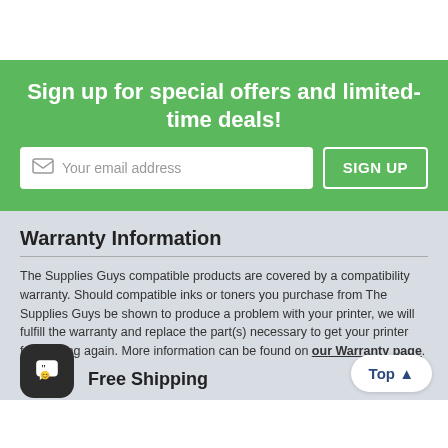Sign up for special offers and limited-time deals!
[Figure (screenshot): Email signup form with text input field showing 'Your email address' placeholder and a 'SIGN UP' button, on a green background]
Warranty Information
The Supplies Guys compatible products are covered by a compatibility warranty. Should compatible inks or toners you purchase from The Supplies Guys be shown to produce a problem with your printer, we will fulfill the warranty and replace the part(s) necessary to get your printer functioning again. More information can be found on our Warranty page.
Free Shipping